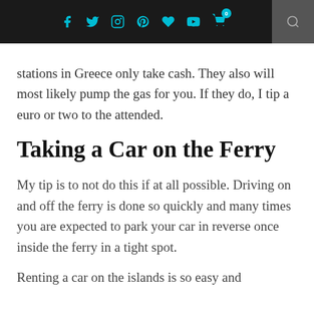Social media navigation icons and search
stations in Greece only take cash. They also will most likely pump the gas for you. If they do, I tip a euro or two to the attended.
Taking a Car on the Ferry
My tip is to not do this if at all possible. Driving on and off the ferry is done so quickly and many times you are expected to park your car in reverse once inside the ferry in a tight spot.
Renting a car on the islands is so easy and